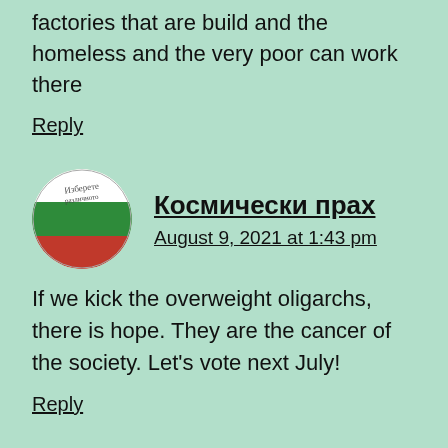factories that are build and the homeless and the very poor can work there
Reply
Космически прах
August 9, 2021 at 1:43 pm
If we kick the overweight oligarchs, there is hope. They are the cancer of the society. Let's vote next July!
Reply